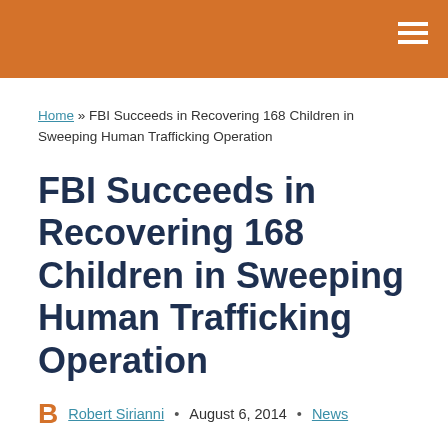Home » FBI Succeeds in Recovering 168 Children in Sweeping Human Trafficking Operation
FBI Succeeds in Recovering 168 Children in Sweeping Human Trafficking Operation
B  Robert Sirianni  •  August 6, 2014  •  News
In a massive operation known as the Innocence Lost Program, the FBI has been one of his organized...